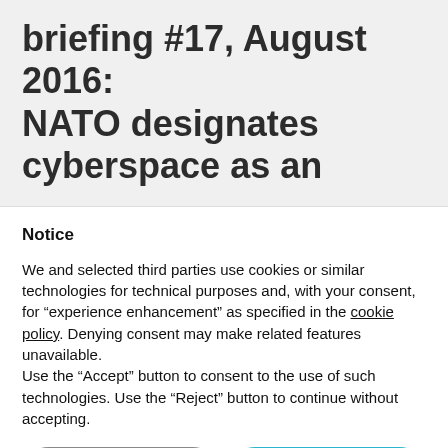briefing #17, August 2016: NATO designates cyberspace as an
Notice
We and selected third parties use cookies or similar technologies for technical purposes and, with your consent, for “experience enhancement” as specified in the cookie policy. Denying consent may make related features unavailable.
Use the “Accept” button to consent to the use of such technologies. Use the “Reject” button to continue without accepting.
Reject
Accept
Learn more and customise